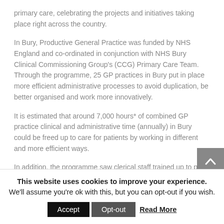primary care, celebrating the projects and initiatives taking place right across the country.
In Bury, Productive General Practice was funded by NHS England and co-ordinated in conjunction with NHS Bury Clinical Commissioning Group's (CCG) Primary Care Team. Through the programme, 25 GP practices in Bury put in place more efficient administrative processes to avoid duplication, be better organised and work more innovatively.
It is estimated that around 7,000 hours* of combined GP practice clinical and administrative time (annually) in Bury could be freed up to care for patients by working in different and more efficient ways.
In addition, the programme saw clerical staff trained up to play a greater role within their practice, to direct patients to the most appropriate...
This website uses cookies to improve your experience. We'll assume you're ok with this, but you can opt-out if you wish.